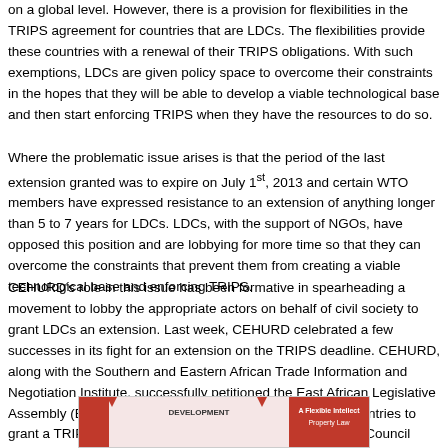on a global level. However, there is a provision for flexibilities in the TRIPS agreement for countries that are LDCs. The flexibilities provide these countries with a renewal of their TRIPS obligations. With such exemptions, LDCs are given policy space to overcome their constraints in the hopes that they will be able to develop a viable technological base and then start enforcing TRIPS when they have the resources to do so.
Where the problematic issue arises is that the period of the last extension granted was to expire on July 1st, 2013 and certain WTO members have expressed resistance to an extension of anything longer than 5 to 7 years for LDCs. LDCs, with the support of NGOs, have opposed this position and are lobbying for more time so that they can overcome the constraints that prevent them from creating a viable technological base and enforcing TRIPS.
CEHURD's role in this issue has been formative in spearheading a movement to lobby the appropriate actors on behalf of civil society to grant LDCs an extension. Last week, CEHURD celebrated a few successes in its fight for an extension on the TRIPS deadline. CEHURD, along with the Southern and Eastern African Trade Information and Negotiation Institute, successfully petitioned the East African Legislative Assembly (EALA) to pass a resolution for WTO member countries to grant a TRIPS extension for LDCs. Then, before the TRIPS Council meeting even convened, the WTO announced that an 8 year extension for LDCs was granted – a marginal victory for LDCs, but a victory nonetheless.
[Figure (photo): Partial view of a publication or document cover showing text including 'DEVELOPMENT' and 'A Flexible Intellect... Property Law' with red and white design elements.]